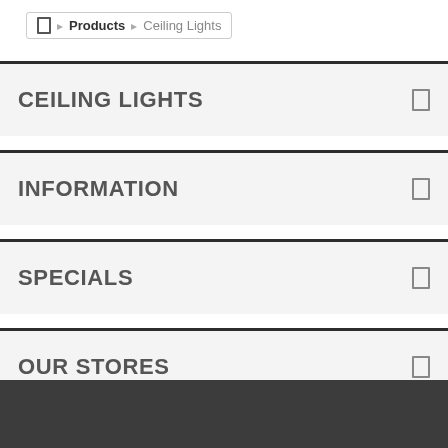Home > Products > Ceiling Lights
CEILING LIGHTS
INFORMATION
SPECIALS
OUR STORES